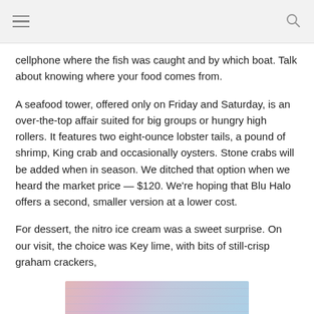cellphone where the fish was caught and by which boat. Talk about knowing where your food comes from.
A seafood tower, offered only on Friday and Saturday, is an over-the-top affair suited for big groups or hungry high rollers. It features two eight-ounce lobster tails, a pound of shrimp, King crab and occasionally oysters. Stone crabs will be added when in season. We ditched that option when we heard the market price — $120. We're hoping that Blu Halo offers a second, smaller version at a lower cost.
For dessert, the nitro ice cream was a sweet surprise. On our visit, the choice was Key lime, with bits of still-crisp graham crackers,
[Figure (photo): Partial view of what appears to be a seafood or dessert dish, with curved metallic elements visible against a pink and blue background]